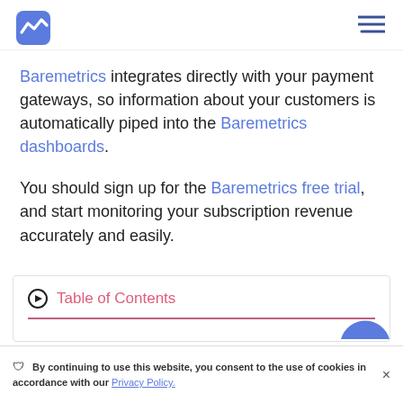[Figure (logo): Baremetrics logo — blue zigzag/chart icon]
[Figure (illustration): Hamburger menu icon (three horizontal lines) in dark blue, top right]
Baremetrics integrates directly with your payment gateways, so information about your customers is automatically piped into the Baremetrics dashboards.
You should sign up for the Baremetrics free trial, and start monitoring your subscription revenue accurately and easily.
Table of Contents
By continuing to use this website, you consent to the use of cookies in accordance with our Privacy Policy.